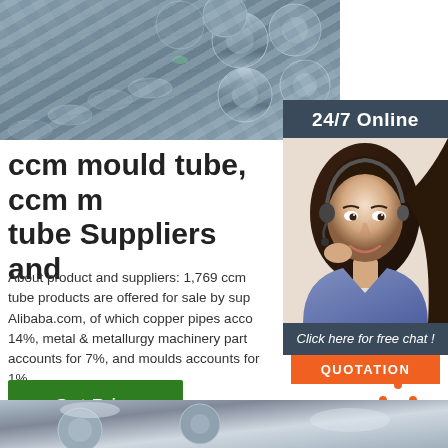[Figure (photo): Stack of steel/metal rods or tubes photographed from the end, showing circular cross-sections in grey metallic color]
[Figure (photo): Customer service agent - woman with dark hair wearing a headset and blue shirt, smiling. Has '24/7 Online' banner at top and 'Click here for free chat!' text with orange QUOTATION button below.]
ccm mould tube, ccm mould tube Suppliers and
About product and suppliers: 1,769 ccm mould tube products are offered for sale by suppliers on Alibaba.com, of which copper pipes accounts for 14%, metal & metallurgy machinery parts accounts for 7%, and moulds accounts for 1%.
[Figure (other): Green 'Get Price' button]
[Figure (logo): Orange TOP logo with dot triangle above the letters T-O-P]
[Figure (photo): Partial view of metal tubes/pipes at the bottom of the page]